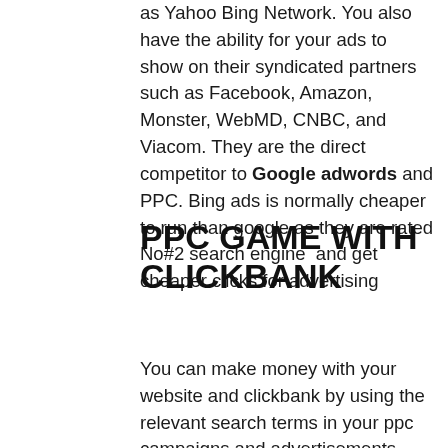as Yahoo Bing Network. You also have the ability for your ads to show on their syndicated partners such as Facebook, Amazon, Monster, WebMD, CNBC, and Viacom. They are the direct competitor to Google adwords and PPC. Bing ads is normally cheaper to run than google as they are rated No#2 search engine and get cheaper clicks for advertising
PPC GAME WITH CLICKBANK
You can make money with your website and clickbank by using the relevant search terms in your ppc campaigns and advertisements. Here is how-